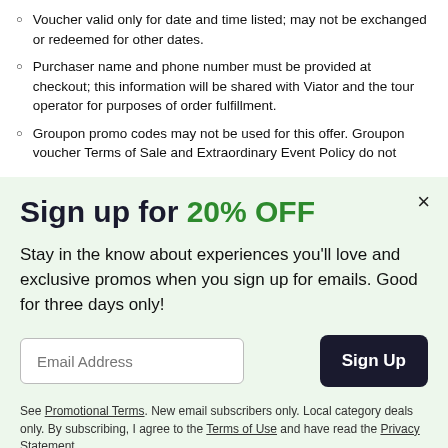Voucher valid only for date and time listed; may not be exchanged or redeemed for other dates.
Purchaser name and phone number must be provided at checkout; this information will be shared with Viator and the tour operator for purposes of order fulfillment.
Groupon promo codes may not be used for this offer. Groupon voucher Terms of Sale and Extraordinary Event Policy do not
Sign up for 20% OFF
Stay in the know about experiences you'll love and exclusive promos when you sign up for emails. Good for three days only!
Email Address
Sign Up
See Promotional Terms. New email subscribers only. Local category deals only. By subscribing, I agree to the Terms of Use and have read the Privacy Statement